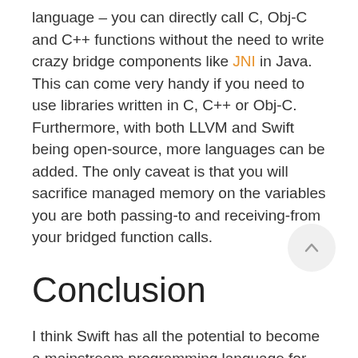language – you can directly call C, Obj-C and C++ functions without the need to write crazy bridge components like JNI in Java.  This can come very handy if you need to use libraries written in C, C++ or Obj-C. Furthermore, with both LLVM and Swift being open-source, more languages can be added. The only caveat is that you will sacrifice managed memory on the variables you are both passing-to and receiving-from your bridged function calls.
Conclusion
I think Swift has all the potential to become a mainstream programming language for server-side development. It's a modern language that